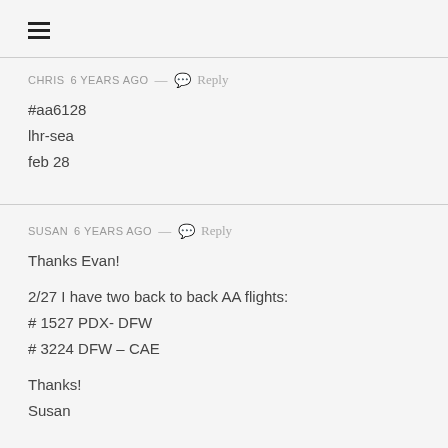[Figure (other): Hamburger menu icon (three horizontal lines)]
CHRIS 6 years ago — Reply
#aa6128
lhr-sea
feb 28
SUSAN 6 years ago — Reply
Thanks Evan!

2/27 I have two back to back AA flights:
# 1527 PDX- DFW
# 3224 DFW – CAE

Thanks!
Susan